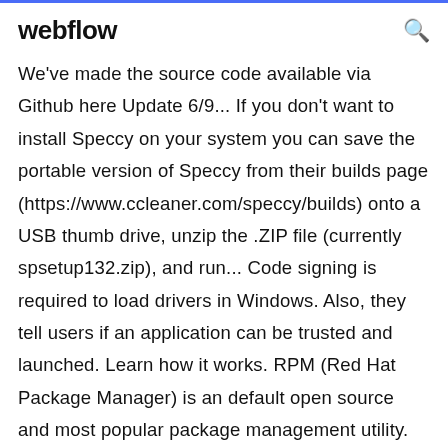webflow
We've made the source code available via Github here Update 6/9... If you don't want to install Speccy on your system you can save the portable version of Speccy from their builds page (https://www.ccleaner.com/speccy/builds) onto a USB thumb drive, unzip the .ZIP file (currently spsetup132.zip), and run... Code signing is required to load drivers in Windows. Also, they tell users if an application can be trusted and launched. Learn how it works. RPM (Red Hat Package Manager) is an default open source and most popular package management utility. This article provides some useful 20 RPM command examples that might be helpful to